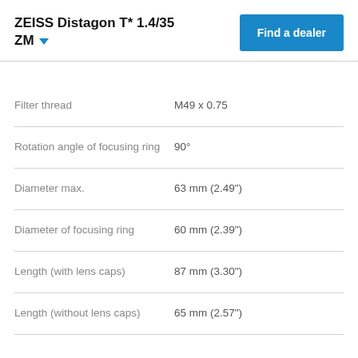ZEISS Distagon T* 1.4/35 ZM
| Property | Value |
| --- | --- |
| Filter thread | M49 x 0.75 |
| Rotation angle of focusing ring | 90° |
| Diameter max. | 63 mm (2.49") |
| Diameter of focusing ring | 60 mm (2.39") |
| Length (with lens caps) | 87 mm (3.30") |
| Length (without lens caps) | 65 mm (2.57") |